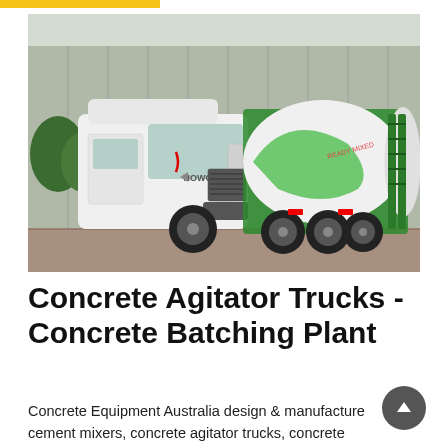[Figure (photo): A HOWO concrete mixer truck with white cab and green rotating drum, parked in front of an industrial building]
Concrete Agitator Trucks - Concrete Batching Plant
Concrete Equipment Australia design & manufacture cement mixers, concrete agitator trucks, concrete batching plants & provide mobile on